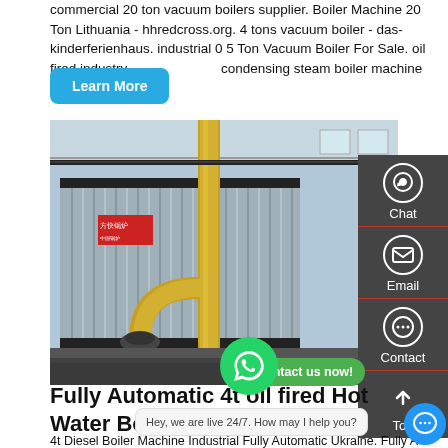commercial 20 ton vacuum boilers supplier. Boiler Machine 20 Ton Lithuania - hhredcross.org. 4 tons vacuum boiler - das-kinderferienhaus. industrial 0 5 Ton Vacuum Boiler For Sale. oil fired industry condensing steam boiler machine for
[Figure (screenshot): Screenshot of a web page showing a photo of an industrial boiler (corrugated metal casing with yellow pipes), a sidebar with Chat, Email, Contact icons, a WhatsApp floating button, a 'Contact us now!' green button, and a 'Learn More' blue button overlay.]
Fully Automatic 4t oil fired Hot Water Boiler
4t Diesel Boiler Machine Industrial Fully Automatic Ukraine. Fully Automatic boiler 8 ton Kuwait - trcesnp.org. December
Hey, we are live 24/7. How may I help you?